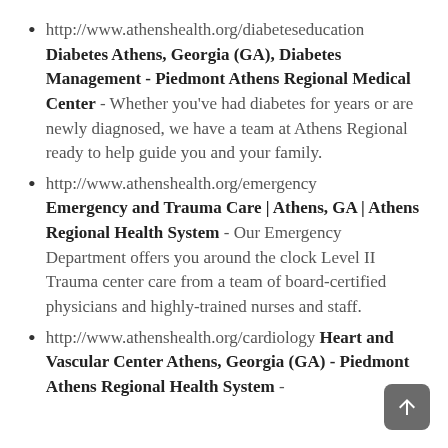http://www.athenshealth.org/diabeteseducation Diabetes Athens, Georgia (GA), Diabetes Management - Piedmont Athens Regional Medical Center - Whether you've had diabetes for years or are newly diagnosed, we have a team at Athens Regional ready to help guide you and your family.
http://www.athenshealth.org/emergency Emergency and Trauma Care | Athens, GA | Athens Regional Health System - Our Emergency Department offers you around the clock Level II Trauma center care from a team of board-certified physicians and highly-trained nurses and staff.
http://www.athenshealth.org/cardiology Heart and Vascular Center Athens, Georgia (GA) - Piedmont Athens Regional Health System -